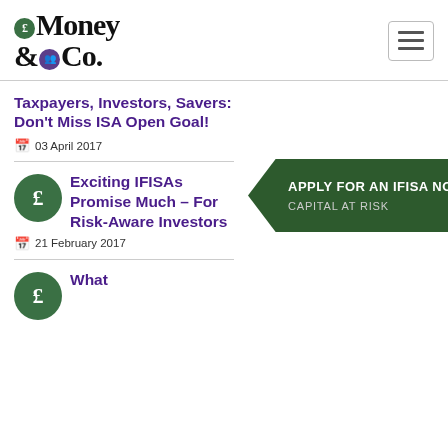[Figure (logo): Money & Co. logo with pound sign circle and people circle]
Taxpayers, Investors, Savers: Don't Miss ISA Open Goal!
03 April 2017
[Figure (infographic): Apply For An IFISA Now banner with arrow/chevron shape. CAPITAL AT RISK subtitle.]
Exciting IFISAs Promise Much – For Risk-Aware Investors
21 February 2017
What